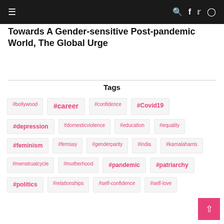Navigation bar with hamburger menu, search, facebook, twitter, instagram icons
Towards A Gender-sensitive Post-pandemic World, The Global Urge
Tags
#bollywood
#career
#confidence
#Covid19
#depression
#domesticviolence
#education
#equality
#feminism
#femsay
#genderparity
#india
#kamalaharris
#menstrualcycle
#motherhood
#pandemic
#patriarchy
#politics
#relationships
#self-confidence
#self-love